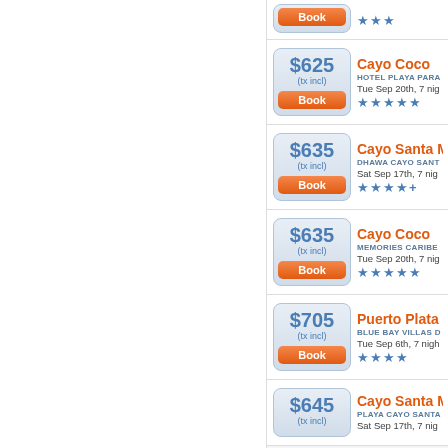Book | ★★★ (partial top row)
Cayo Coco | HOTEL PLAYA PARA | Tue Sep 20th, 7 nig | $625 (tx incl) | ★★★★★
Cayo Santa Ma | DHAWA CAYO SANT | Sat Sep 17th, 7 nig | $635 (tx incl) | ★★★★+
Cayo Coco | MEMORIES CARIBE | Tue Sep 20th, 7 nig | $635 (tx incl) | ★★★★★
Puerto Plata | BLUE BAY VILLAS D | Tue Sep 6th, 7 nigh | $705 (tx incl) | ★★★★
Cayo Santa Ma | PLAYA CAYO SANTA | Sat Sep 17th, 7 nig | $645 (tx incl)